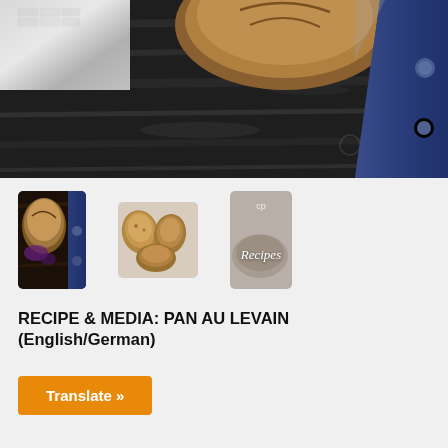[Figure (photo): Large banner photo of a dark wooden table/surface with a bread loaf at top center, a person's hand/wrist with a metal watch at top-left, and a blue-handled knife at top-right]
[Figure (photo): Thumbnail image 1: bread on dark wooden surface with blue knife handle]
[Figure (photo): Thumbnail image 2: sliced bread pieces on light surface]
[Figure (illustration): Thumbnail image 3: grey card with small logo icon at top and italic 'Recipes' text in white]
RECIPE & MEDIA: PAN AU LEVAIN (English/German)
Translate »